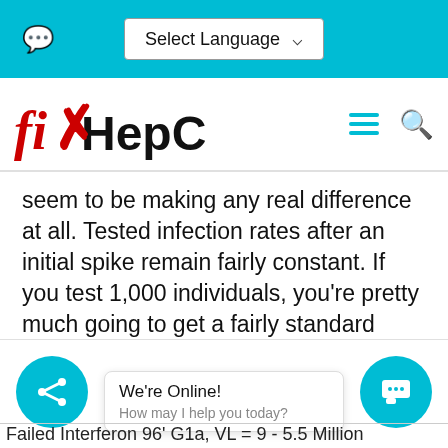Select Language
[Figure (logo): fixHepC website logo — stylized red italic fi with red X mark overlapping, followed by HepC in black bold sans-serif]
seem to be making any real difference at all. Tested infection rates after an initial spike remain fairly constant. If you test 1,000 individuals, you're pretty much going to get a fairly standard active infection rate. Test 100,000 for antibodies, and somewhere between 25% sand 40% have already had it and cleared it.
Failed Interferon 96' G1a, VL = 9 - 5.5 Million